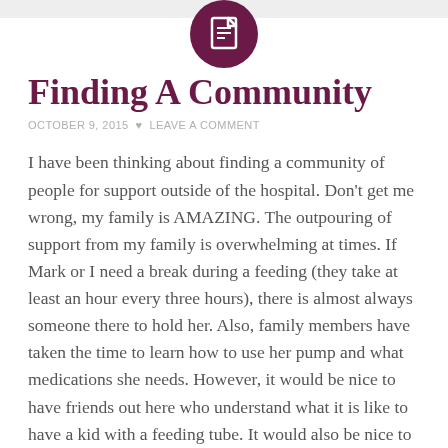[Figure (logo): Dark purple circle with a white document/file icon in the center, partially cut by the top edge of the page]
Finding A Community
OCTOBER 9, 2015 ♥ LEAVE A COMMENT
I have been thinking about finding a community of people for support outside of the hospital. Don't get me wrong, my family is AMAZING. The outpouring of support from my family is overwhelming at times. If Mark or I need a break during a feeding (they take at least an hour every three hours), there is almost always someone there to hold her. Also, family members have taken the time to learn how to use her pump and what medications she needs. However, it would be nice to have friends out here who understand what it is like to have a kid with a feeding tube. It would also be nice to have another mom that I can ask . So, I have been searching. So far I don't know anyone